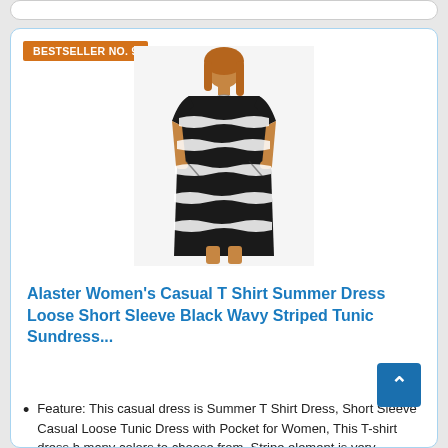BESTSELLER NO. 9
[Figure (photo): Woman wearing a black and white wavy striped short sleeve casual T-shirt dress with pockets]
Alaster Women's Casual T Shirt Summer Dress Loose Short Sleeve Black Wavy Striped Tunic Sundress...
Feature: This casual dress is Summer T Shirt Dress, Short Sleeve Casual Loose Tunic Dress with Pocket for Women, This T-shirt dress h many colors to choose from. Stripe element is very fashionable and will never go out of